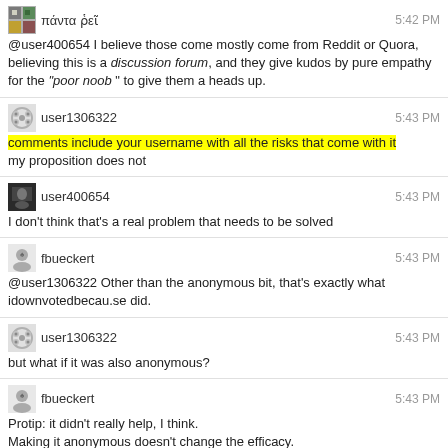πάντα ῥεῖ — 5:42 PM
@user400654 I believe those come mostly come from Reddit or Quora, believing this is a discussion forum, and they give kudos by pure empathy for the "poor noob" to give them a heads up.
user1306322 — 5:43 PM
comments include your username with all the risks that come with it
my proposition does not
user400654 — 5:43 PM
I don't think that's a real problem that needs to be solved
fbueckert — 5:43 PM
@user1306322 Other than the anonymous bit, that's exactly what idownvotedbecau.se did.
user1306322 — 5:43 PM
but what if it was also anonymous?
fbueckert — 5:43 PM
Protip: it didn't really help, I think.
Making it anonymous doesn't change the efficacy.
Just removes the potential target.
user1306322 — 5:44 PM
why do people think it didn't help?